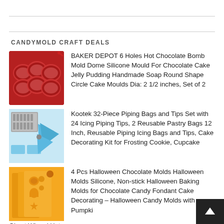CANDYMOLD CRAFT DEALS
[Figure (photo): Red silicone dome mold with 6 hemisphere cavities]
BAKER DEPOT 6 Holes Hot Chocolate Bomb Mold Dome Silicone Mould For Chocolate Cake Jelly Pudding Handmade Soap Round Shape Circle Cake Moulds Dia: 2 1/2 inches, Set of 2
[Figure (photo): Piping bags and tips set with blue silicone bags and metal tips]
Kootek 32-Piece Piping Bags and Tips Set with 24 Icing Piping Tips, 2 Reusable Pastry Bags 12 Inch, Reusable Piping Icing Bags and Tips, Cake Decorating Kit for Frosting Cookie, Cupcake
[Figure (photo): Orange Halloween silicone chocolate molds with ghost, wizard hat shapes]
4 Pcs Halloween Chocolate Molds Halloween Molds Silicone, Non-stick Halloween Baking Molds for Chocolate Candy Fondant Cake Decorating – Halloween Candy Molds with Pumpki
Ghost Wizard Hat